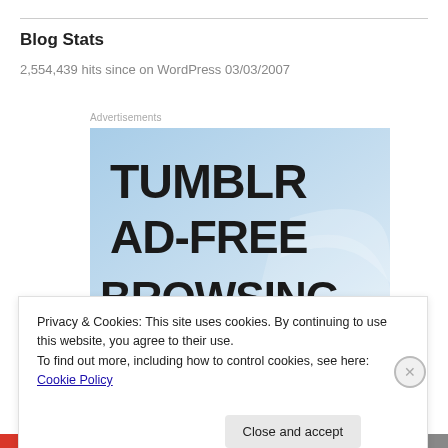Blog Stats
2,554,439 hits since on WordPress 03/03/2007
Advertisements
[Figure (illustration): Tumblr Ad-Free Browsing advertisement banner with blue gradient background and bold black text reading 'TUMBLR AD-FREE BROWSING']
Privacy & Cookies: This site uses cookies. By continuing to use this website, you agree to their use.
To find out more, including how to control cookies, see here: Cookie Policy
Close and accept